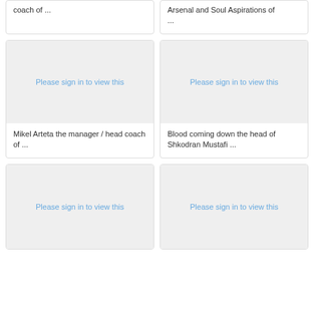coach of ...
Arsenal and Soul Aspirations of ...
[Figure (photo): Please sign in to view this - image card for Mikel Arteta]
Mikel Arteta the manager / head coach of ...
[Figure (photo): Please sign in to view this - image card for Shkodran Mustafi]
Blood coming down the head of Shkodran Mustafi ...
[Figure (photo): Please sign in to view this - bottom left card]
[Figure (photo): Please sign in to view this - bottom right card]